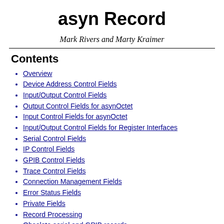asyn Record
Mark Rivers and Marty Kraimer
Contents
Overview
Device Address Control Fields
Input/Output Control Fields
Output Control Fields for asynOctet
Input Control Fields for asynOctet
Input/Output Control Fields for Register Interfaces
Serial Control Fields
IP Control Fields
GPIB Control Fields
Trace Control Fields
Connection Management Fields
Error Status Fields
Private Fields
Record Processing
Obsolete serial and GPIB records